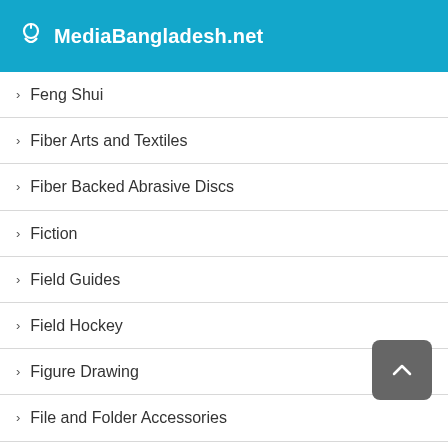MediaBangladesh.net
Feng Shui
Fiber Arts and Textiles
Fiber Backed Abrasive Discs
Fiction
Field Guides
Field Hockey
Figure Drawing
File and Folder Accessories
File Cabinets
File Folder Racks and Holders